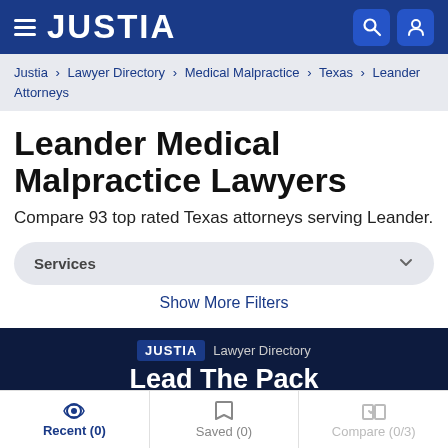JUSTIA
Justia › Lawyer Directory › Medical Malpractice › Texas › Leander Attorneys
Leander Medical Malpractice Lawyers
Compare 93 top rated Texas attorneys serving Leander.
Services
Show More Filters
JUSTIA Lawyer Directory
Lead The Pack
Recent (0)    Saved (0)    Compare (0/3)